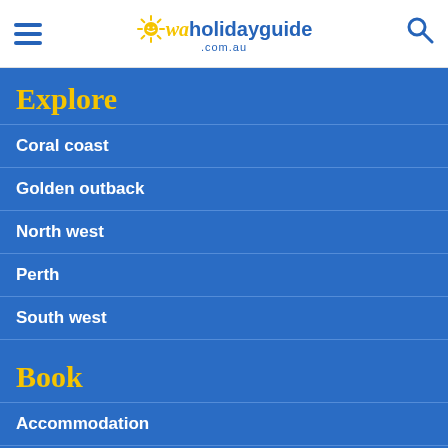waholidayguide.com.au
Explore
Coral coast
Golden outback
North west
Perth
South west
Book
Accommodation
Car hire
Campervan rental